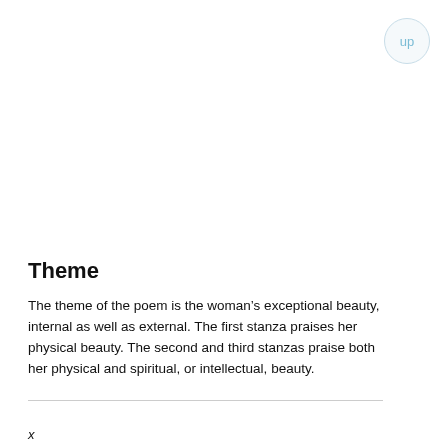[Figure (other): Circular 'up' navigation button in top right corner, light blue text on pale background with light blue border]
Theme
The theme of the poem is the woman’s exceptional beauty, internal as well as external. The first stanza praises her physical beauty. The second and third stanzas praise both her physical and spiritual, or intellectual, beauty.
x